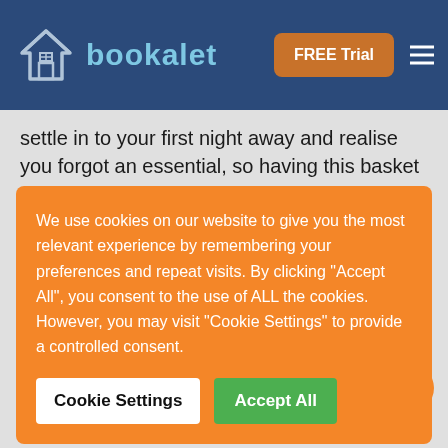bookalet — FREE Trial
settle in to your first night away and realise you forgot an essential, so having this basket will be appreciated if
We use cookies on our website to give you the most relevant experience by remembering your preferences and repeat visits. By clicking "Accept All", you consent to the use of ALL the cookies. However, you may visit "Cookie Settings" to provide a controlled consent.
to return if they feel that you went out of your way to make sure they enjoyed their first trip.
What about my campsite?
For a place...